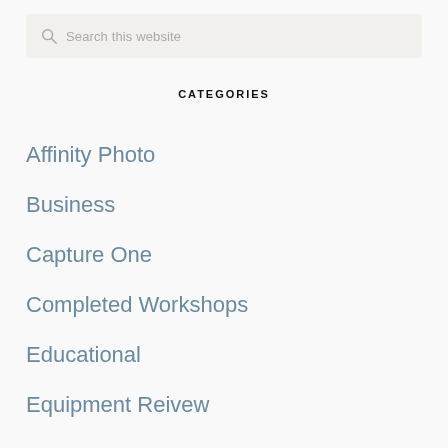Search this website
CATEGORIES
Affinity Photo
Business
Capture One
Completed Workshops
Educational
Equipment Reivew